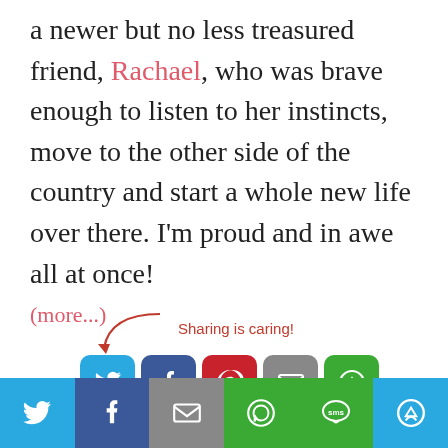a newer but no less treasured friend, Rachael, who was brave enough to listen to her instincts, move to the other side of the country and start a whole new life over there. I'm proud and in awe all at once!
(more...)
[Figure (infographic): Sharing is caring! section with social share buttons: Twitter (blue), Facebook (dark blue), Pinterest (red), Email (gray), More (green)]
[Figure (infographic): Bottom share bar with icons: Twitter, Facebook, Email, WhatsApp, SMS, More]